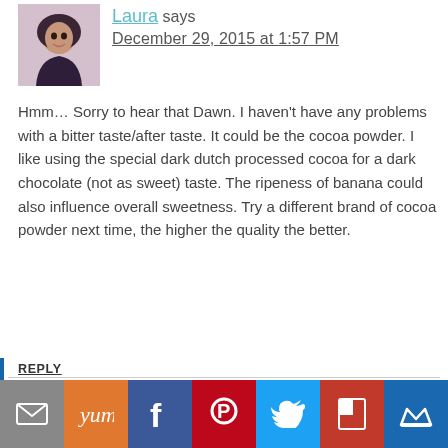[Figure (photo): Avatar photo of a woman with long dark hair]
Laura says
December 29, 2015 at 1:57 PM
Hmm… Sorry to hear that Dawn. I haven't have any problems with a bitter taste/after taste. It could be the cocoa powder. I like using the special dark dutch processed cocoa for a dark chocolate (not as sweet) taste. The ripeness of banana could also influence overall sweetness. Try a different brand of cocoa powder next time, the higher the quality the better.
REPLY
[Figure (infographic): Social sharing bar with email, Yummly, Facebook, Pinterest, Twitter, Flipboard, and crown/Bloglovin icons]